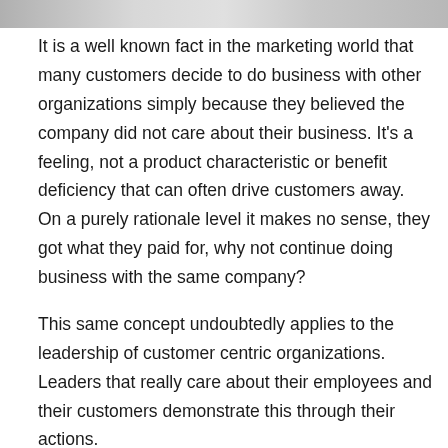[Figure (photo): Partial image strip at top of page, cropped photo]
It is a well known fact in the marketing world that many customers decide to do business with other organizations simply because they believed the company did not care about their business. It's a feeling, not a product characteristic or benefit deficiency that can often drive customers away. On a purely rationale level it makes no sense, they got what they paid for, why not continue doing business with the same company?
This same concept undoubtedly applies to the leadership of customer centric organizations. Leaders that really care about their employees and their customers demonstrate this through their actions.
Some great lessons come from Rick Silva, the CEO of a quick service restaurant chain called Checkers and Rally.